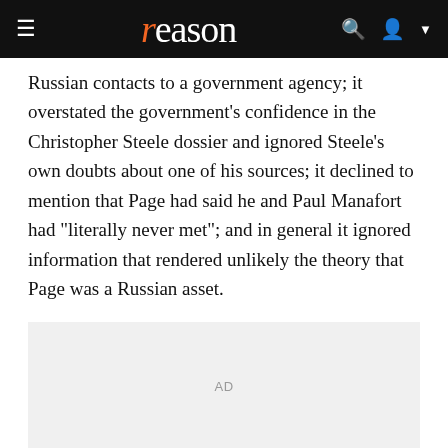reason
Russian contacts to a government agency; it overstated the government's confidence in the Christopher Steele dossier and ignored Steele's own doubts about one of his sources; it declined to mention that Page had said he and Paul Manafort had "literally never met"; and in general it ignored information that rendered unlikely the theory that Page was a Russian asset.
[Figure (other): Advertisement placeholder box labeled AD]
These are alarming failures. They undercut the government's position that FISA courts are a sufficient guardian of Americans' civil liberties, and that the FBI is capable of responsibly exercising the vast powers granted to it. No one should feel confident that a court would